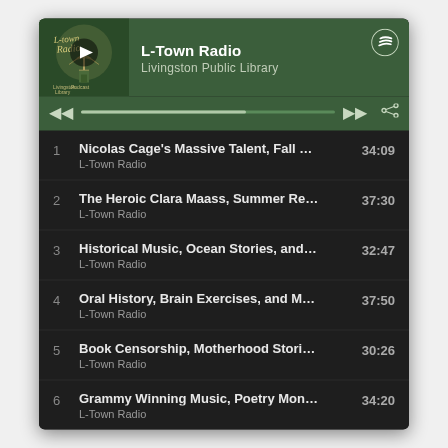L-Town Radio
Livingston Public Library
1  Nicolas Cage's Massive Talent, Fall Music, a...  34:09  L-Town Radio
2  The Heroic Clara Maass, Summer Reading ...  37:30  L-Town Radio
3  Historical Music, Ocean Stories, and More: ...  32:47  L-Town Radio
4  Oral History, Brain Exercises, and More: Ju...  37:50  L-Town Radio
5  Book Censorship, Motherhood Stories, & M...  30:26  L-Town Radio
6  Grammy Winning Music, Poetry Month Fav...  34:20  L-Town Radio